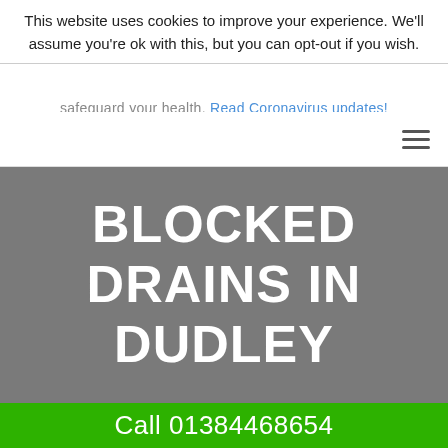This website uses cookies to improve your experience. We'll assume you're ok with this, but you can opt-out if you wish.
safeguard your health. Read Coronavirus updates!
[Figure (other): Hamburger menu icon (three horizontal lines) in top-right navigation bar]
BLOCKED DRAINS IN DUDLEY
Call 01384468654